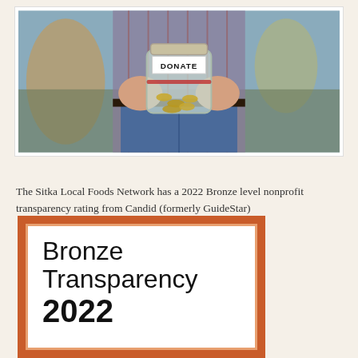[Figure (photo): Person holding a glass jar labeled DONATE filled with coins, wearing a plaid shirt and jeans, outdoor street background]
The Sitka Local Foods Network has a 2022 Bronze level nonprofit transparency rating from Candid (formerly GuideStar)
[Figure (other): Bronze Transparency 2022 badge/seal with orange border on white background]